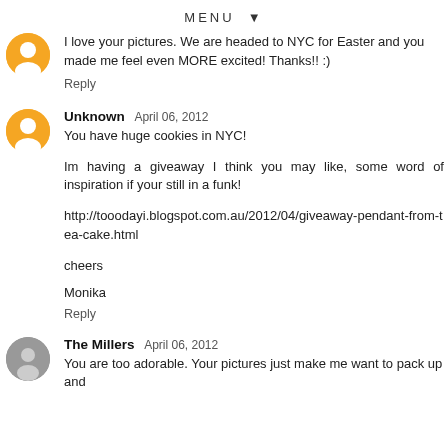MENU ▼
I love your pictures. We are headed to NYC for Easter and you made me feel even MORE excited! Thanks!! :)
Reply
Unknown  April 06, 2012
You have huge cookies in NYC!
Im having a giveaway I think you may like, some word of inspiration if your still in a funk!
http://tooodayi.blogspot.com.au/2012/04/giveaway-pendant-from-tea-cake.html
cheers
Monika
Reply
The Millers  April 06, 2012
You are too adorable. Your pictures just make me want to pack up and